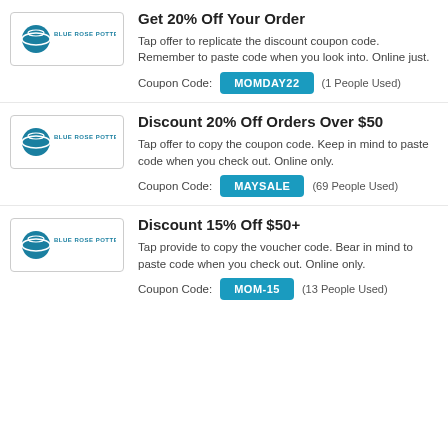[Figure (logo): Blue Rose Pottery logo in a bordered box]
Get 20% Off Your Order
Tap offer to replicate the discount coupon code. Remember to paste code when you look into. Online just.
Coupon Code: MOMDAY22 (1 People Used)
[Figure (logo): Blue Rose Pottery logo in a bordered box]
Discount 20% Off Orders Over $50
Tap offer to copy the coupon code. Keep in mind to paste code when you check out. Online only.
Coupon Code: MAYSALE (69 People Used)
[Figure (logo): Blue Rose Pottery logo in a bordered box]
Discount 15% Off $50+
Tap provide to copy the voucher code. Bear in mind to paste code when you check out. Online only.
Coupon Code: MOM-15 (13 People Used)